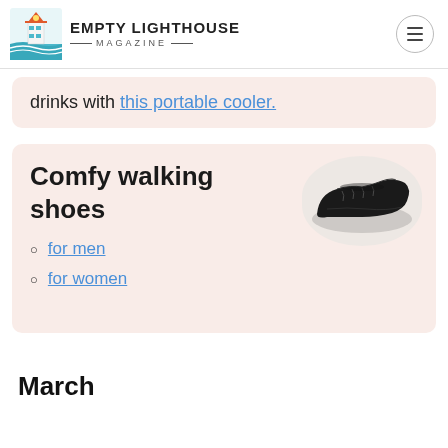EMPTY LIGHTHOUSE MAGAZINE
drinks with this portable cooler.
Comfy walking shoes
for men
for women
March